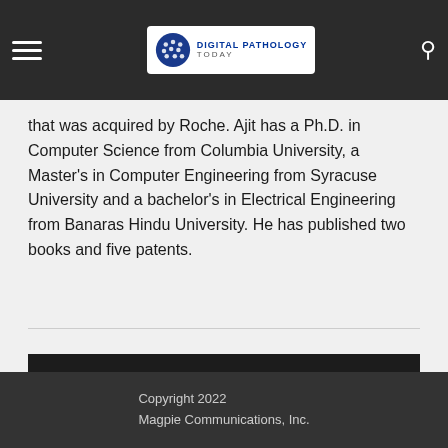Digital Pathology Today
that was acquired by Roche. Ajit has a Ph.D. in Computer Science from Columbia University, a Master's in Computer Engineering from Syracuse University and a bachelor's in Electrical Engineering from Banaras Hindu University. He has published two books and five patents.
Click HERE to return to our list of episodes
Copyright 2022
Magpie Communications, Inc.